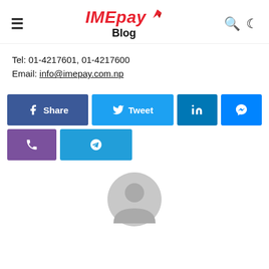IMEpay Blog
Tel: 01-4217601, 01-4217600
Email: info@imepay.com.np
[Figure (infographic): Social share buttons: Facebook Share, Twitter Tweet, LinkedIn, Messenger, Viber, Telegram]
[Figure (illustration): Gray circular avatar/profile placeholder icon]